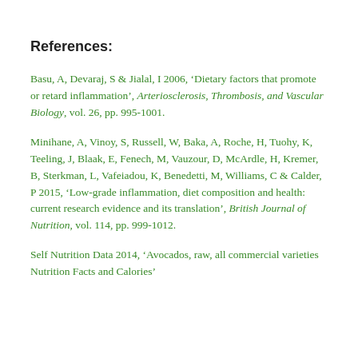References:
Basu, A, Devaraj, S & Jialal, I 2006, ‘Dietary factors that promote or retard inflammation’, Arteriosclerosis, Thrombosis, and Vascular Biology, vol. 26, pp. 995-1001.
Minihane, A, Vinoy, S, Russell, W, Baka, A, Roche, H, Tuohy, K, Teeling, J, Blaak, E, Fenech, M, Vauzour, D, McArdle, H, Kremer, B, Sterkman, L, Vafeiadou, K, Benedetti, M, Williams, C & Calder, P 2015, ‘Low-grade inflammation, diet composition and health: current research evidence and its translation’, British Journal of Nutrition, vol. 114, pp. 999-1012.
Self Nutrition Data 2014, ‘Avocados, raw, all commercial varieties Nutrition Facts and Calories’